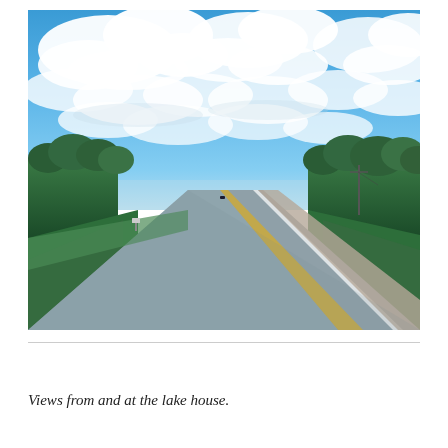[Figure (photo): A straight two-lane road stretching to the horizon, flanked by green trees and grass on both sides, under a dramatic bright blue sky filled with large white cumulus clouds. The road has a yellow center line and a white edge line visible. One vehicle is visible far down the road. Photo taken from the driver's perspective through a windshield.]
Views from and at the lake house.